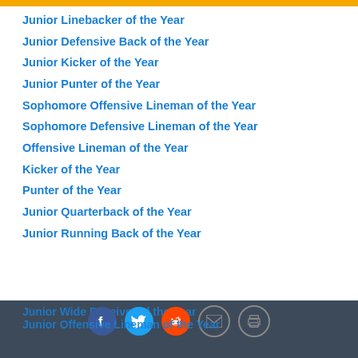Junior Linebacker of the Year
Junior Defensive Back of the Year
Junior Kicker of the Year
Junior Punter of the Year
Sophomore Offensive Lineman of the Year
Sophomore Defensive Lineman of the Year
Offensive Lineman of the Year
Kicker of the Year
Punter of the Year
Junior Quarterback of the Year
Junior Running Back of the Year
Junior Wide Receiver of the Year
Junior Offensive Lineman of the Year